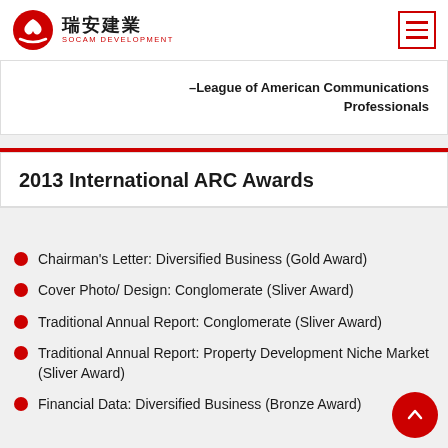[Figure (logo): SOCAM Development (瑞安建業) logo with red circular emblem and navigation hamburger menu icon]
–League of American Communications Professionals
2013 International ARC Awards
Chairman's Letter: Diversified Business (Gold Award)
Cover Photo/ Design: Conglomerate (Sliver Award)
Traditional Annual Report: Conglomerate (Sliver Award)
Traditional Annual Report: Property Development Niche Market (Sliver Award)
Financial Data: Diversified Business (Bronze Award)